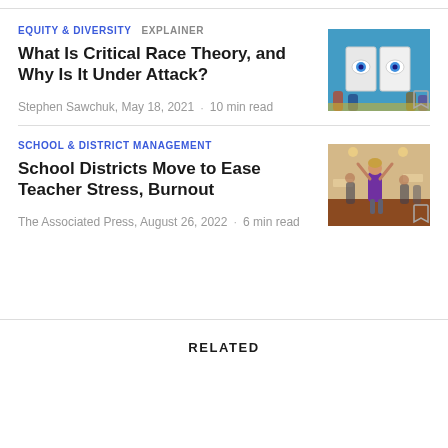EQUITY & DIVERSITY  EXPLAINER
What Is Critical Race Theory, and Why Is It Under Attack?
[Figure (photo): Illustration of children looking at an open book with eyes on the pages, blue background]
Stephen Sawchuk, May 18, 2021  •  10 min read
SCHOOL & DISTRICT MANAGEMENT
School Districts Move to Ease Teacher Stress, Burnout
[Figure (photo): Photo of people doing exercise/yoga in a room, woman in purple top with arms raised]
The Associated Press, August 26, 2022  •  6 min read
RELATED